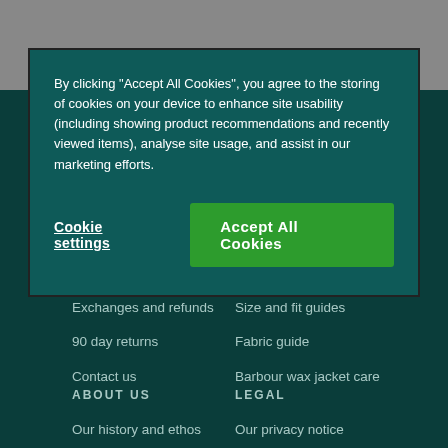[Figure (screenshot): Cookie consent modal dialog with teal/dark green background, containing cookie policy text and two buttons: 'Cookie settings' (underlined text) and 'Accept All Cookies' (green button)]
By clicking "Accept All Cookies", you agree to the storing of cookies on your device to enhance site usability (including showing product recommendations and recently viewed items), analyse site usage, and assist in our marketing efforts.
Exchanges and refunds
90 day returns
Contact us
Size and fit guides
Fabric guide
Barbour wax jacket care
ABOUT US
LEGAL
Our history and ethos
Join our team
Our privacy notice
Cookie settings